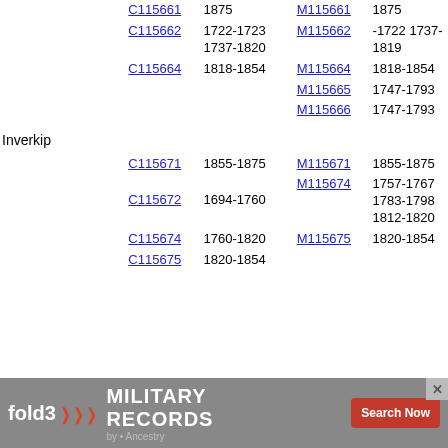|  | C-ref | C-dates | M-ref | M-dates |
| --- | --- | --- | --- | --- |
|  | C115661 | 1875 | M115661 | 1875 |
|  | C115662 | 1722-1723 1737-1820 | M115662 | -1722 1737-1819 |
|  | C115664 | 1818-1854 | M115664 | 1818-1854 |
|  |  |  | M115665 | 1747-1793 |
|  |  |  | M115666 | 1747-1793 |
| Inverkip |  |  |  |  |
|  | C115671 | 1855-1875 | M115671 | 1855-1875 |
|  | C115672 | 1694-1760 | M115674 | 1757-1767 1783-1798 1812-1820 |
|  | C115674 | 1760-1820 | M115675 | 1820-1854 |
|  | C115675 | 1820-1854 |  |  |